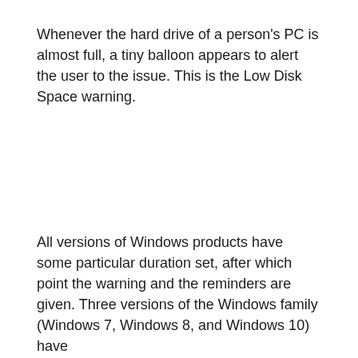Whenever the hard drive of a person's PC is almost full, a tiny balloon appears to alert the user to the issue. This is the Low Disk Space warning.
All versions of Windows products have some particular duration set, after which point the warning and the reminders are given. Three versions of the Windows family (Windows 7, Windows 8, and Windows 10) have scheduled the warnings for every ten minutes. The notification screen time is 10 seconds. Windows Vista